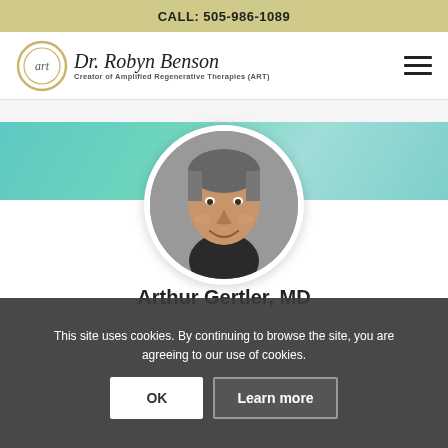CALL: 505-986-1089
[Figure (logo): Dr. Robyn Benson ART logo with circular art emblem and italic script name, subtitle: Creator of Amplified Regenerative Therapies (ART)]
[Figure (photo): Circular portrait photo of Arthur Gertler, MD, a middle-aged man with gray hair, smiling, set against a teal gradient background banner]
Arthur Gertler, MD
Board Certified Emergency Physician
“There’s no natural immunity to this disease.
This site uses cookies. By continuing to browse the site, you are agreeing to our use of cookies.